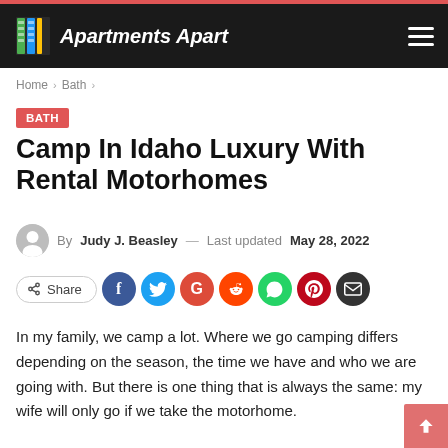Apartments Apart
Home > Bath >
BATH
Camp In Idaho Luxury With Rental Motorhomes
By Judy J. Beasley — Last updated May 28, 2022
Share
In my family, we camp a lot. Where we go camping differs depending on the season, the time we have and who we are going with. But there is one thing that is always the same: my wife will only go if we take the motorhome.